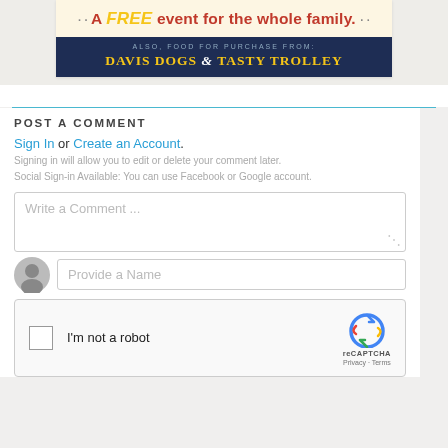[Figure (infographic): Event banner: 'A FREE event for the whole family.' and 'ALSO, FOOD FOR PURCHASE FROM: DAVIS DOGS & TASTY TROLLEY' on dark blue background]
POST A COMMENT
Sign In or Create an Account.
Signing in will allow you to edit or delete your comment later.
Social Sign-in Available: You can use Facebook or Google account.
Write a Comment ...
Provide a Name
[Figure (screenshot): reCAPTCHA widget with checkbox and 'I'm not a robot' text, reCAPTCHA logo, Privacy and Terms links]